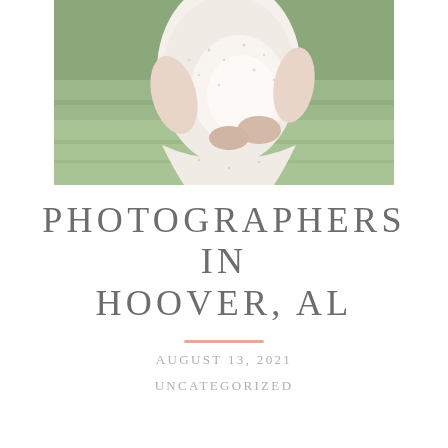[Figure (photo): A pregnant woman in a white floral dress standing outdoors on green grass, holding her baby bump with both hands. Only the torso and lower body visible.]
PHOTOGRAPHERS IN HOOVER, AL
AUGUST 13, 2021
UNCATEGORIZED